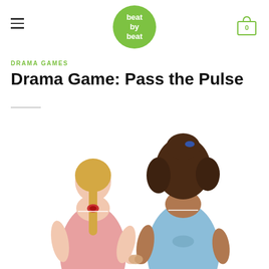beat by beat — navigation header with logo and cart
DRAMA GAMES
Drama Game: Pass the Pulse
[Figure (photo): Two young girls seen from behind, holding hands. The girl on the left wears a red gingham dress with a red scrunchie ponytail. The girl on the right wears a blue gingham dress with a blue hair accessory and has curly brown hair.]